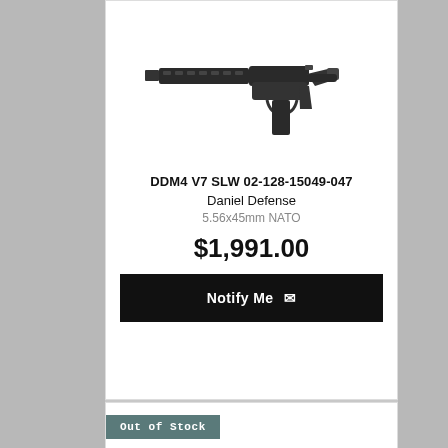[Figure (photo): Photograph of DDM4 V7 SLW rifle - black AR-style firearm with M-LOK handguard]
DDM4 V7 SLW 02-128-15049-047
Daniel Defense
5.56x45mm NATO
$1,991.00
Notify Me
Out of Stock
[Figure (photo): Photograph of a second Daniel Defense AR pistol - black, shorter barrel with brace]